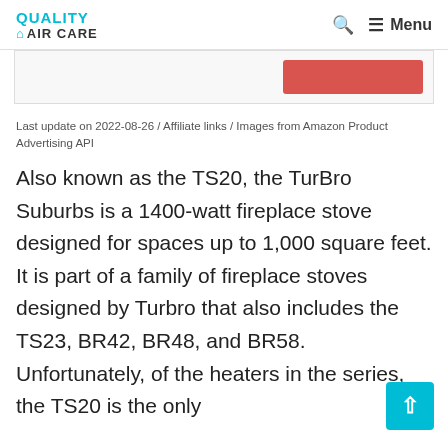QUALITY AIR CARE  🔍  ≡ Menu
[Figure (screenshot): Partial product image with a red button visible on the right side inside a bordered box]
Last update on 2022-08-26 / Affiliate links / Images from Amazon Product Advertising API
Also known as the TS20, the TurBro Suburbs is a 1400-watt fireplace stove designed for spaces up to 1,000 square feet. It is part of a family of fireplace stoves designed by Turbro that also includes the TS23, BR42, BR48, and BR58. Unfortunately, of the heaters in the series, the TS20 is the only...